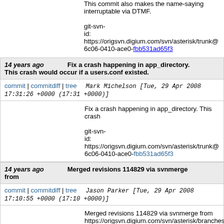This commit also makes the name-saying interruptable via DTMF.

git-svn-id: https://origsvn.digium.com/svn/asterisk/trunk@6c06-0410-ace0-fbb531ad65f3
14 years ago   Fix a crash happening in app_directory. This crash would occur if a users.conf existed.
commit | commitdiff | tree   Mark Michelson [Tue, 29 Apr 2008 17:31:26 +0000 (17:31 +0000)]
Fix a crash happening in app_directory. This crash

git-svn-id: https://origsvn.digium.com/svn/asterisk/trunk@6c06-0410-ace0-fbb531ad65f3
14 years ago   Merged revisions 114829 via svnmerge from
commit | commitdiff | tree   Jason Parker [Tue, 29 Apr 2008 17:10:55 +0000 (17:10 +0000)]
Merged revisions 114829 via svnmerge from https://origsvn.digium.com/svn/asterisk/branches/1

........